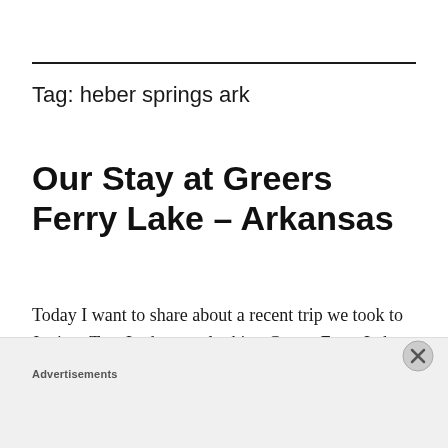Tag: heber springs ark
Our Stay at Greers Ferry Lake – Arkansas
Today I want to share about a recent trip we took to Juniper Tree Lodge overlooking Greers Ferry Lake in Central Arkansas. This was our first
Advertisements